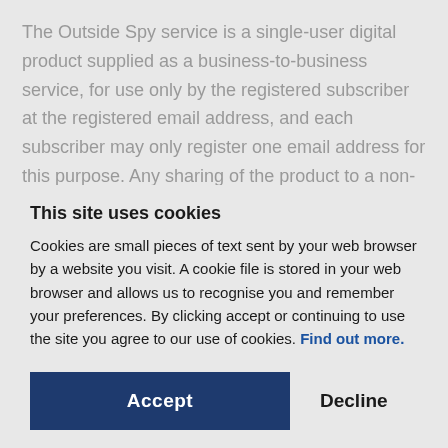The Outside Spy service is a single-user digital product supplied as a business-to-business service, for use only by the registered subscriber at the registered email address, and each subscriber may only register one email address for this purpose. Any sharing of the product to a non-registered email address or non
This site uses cookies
Cookies are small pieces of text sent by your web browser by a website you visit. A cookie file is stored in your web browser and allows us to recognise you and remember your preferences. By clicking accept or continuing to use the site you agree to our use of cookies. Find out more.
Accept
Decline
Manage settings
Our subscription prices are as stated on the outside spy website